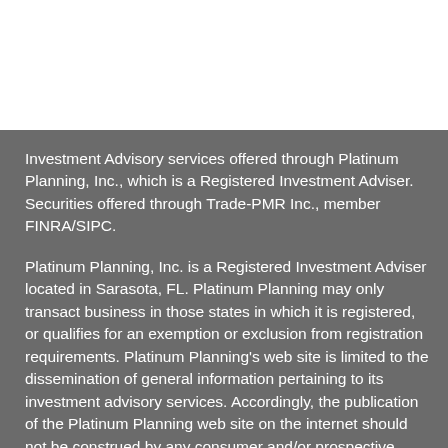Investment Advisory services offered through Platinum Planning, Inc., which is a Registered Investment Adviser.  Securities offered through Trade-PMR Inc., member FINRA/SIPC.
Platinum Planning, Inc. is a Registered Investment Adviser located in Sarasota, FL.  Platinum Planning may only transact business in those states in which it is registered, or qualifies for an exemption or exclusion from registration requirements.  Platinum Planning's web site is limited to the dissemination of general information pertaining to its investment advisory services.  Accordingly, the publication of the Platinum Planning web site on the internet should not be construed by any consumer and/or prospective client as Platinum Planning's